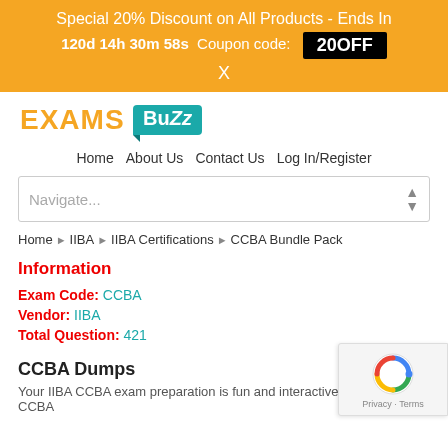Special 20% Discount on All Products - Ends In 120d 14h 30m 58s  Coupon code: 20OFF  X
[Figure (logo): ExamsBuzz logo with orange EXAMS text and teal speech-bubble BuZz badge]
Home  About Us  Contact Us  Log In/Register
Navigate...
Home › IIBA › IIBA Certifications › CCBA Bundle Pack
Information
Exam Code: CCBA
Vendor: IIBA
Total Question: 421
CCBA Dumps
Your IIBA CCBA exam preparation is fun and interactive with the valid CCBA